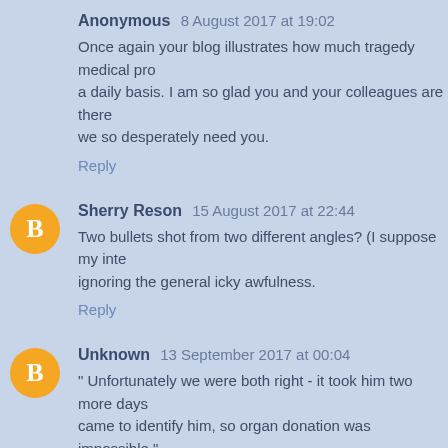Anonymous 8 August 2017 at 19:02
Once again your blog illustrates how much tragedy medical pro a daily basis. I am so glad you and your colleagues are there we so desperately need you.
Reply
Sherry Reson 15 August 2017 at 22:44
Two bullets shot from two different angles? (I suppose my inte ignoring the general icky awfulness.
Reply
Unknown 13 September 2017 at 00:04
" Unfortunately we were both right - it took him two more days came to identify him, so organ donation was impossible."
Fuck man. Regardless of his story and how he ended up shot, t
Reply